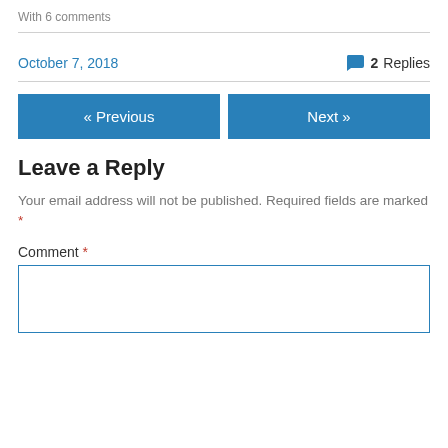With 6 comments
October 7, 2018
2 Replies
« Previous
Next »
Leave a Reply
Your email address will not be published. Required fields are marked *
Comment *